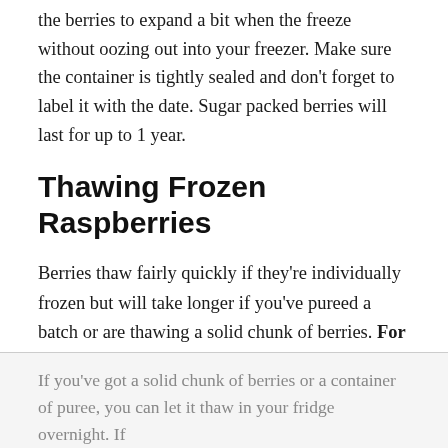the berries to expand a bit when the freeze without oozing out into your freezer. Make sure the container is tightly sealed and don't forget to label it with the date. Sugar packed berries will last for up to 1 year.
Thawing Frozen Raspberries
Berries thaw fairly quickly if they're individually frozen but will take longer if you've pureed a batch or are thawing a solid chunk of berries. For best results, you can spread them out on a baking sheet covered with a paper towel to collect any residual moisture and let them warm to room temperature in your kitchen.
If you've got a solid chunk of berries or a container of puree, you can let it thaw in your fridge overnight. If